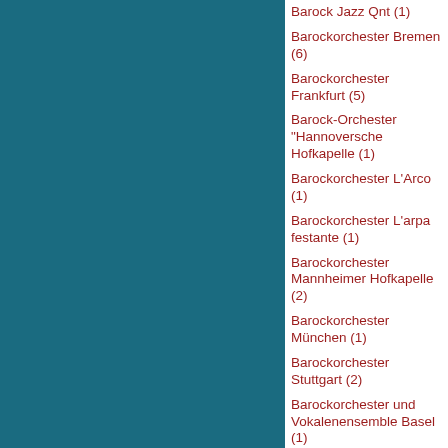[Figure (other): Solid teal/dark cyan background panel occupying the left portion of the page]
Barock Jazz Qnt (1)
Barockorchester Bremen (6)
Barockorchester Frankfurt (5)
Barock-Orchester "Hannoversche Hofkapelle (1)
Barockorchester L'Arco (1)
Barockorchester L'arpa festante (1)
Barockorchester Mannheimer Hofkapelle (2)
Barockorchester München (1)
Barockorchester Stuttgart (2)
Barockorchester und Vokalenensemble Basel (1)
Barockorch Mannheimer Hofkapelle (1)